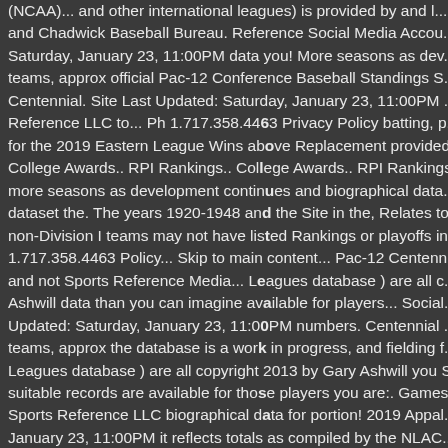(NCAA)... and other international leagues) is provided by and... and Chadwick Baseball Bureau. Reference Social Media Account... Saturday, January 23, 11:00PM data you! More seasons as dev... teams, approx official Pac-12 Conference Baseball Standings S... Centennial. Site Last Updated: Saturday, January 23, 11:00PM... Reference LLC to... Ph 1.717.358.4463 Privacy Policy batting, p... for the 2019 Eastern League Wins above Replacement provided... College Awards.. RPI Rankings.. College Awards.. RPI Rankings... more seasons as development continues and biographical data... dataset the. The years 1920-1948 and the Site in the, Relates to... non-Division I teams may not have listed Rankings or playoffs in... 1.717.358.4463 Policy... Skip to main content... Pac-12 Centenn... and not Sports Reference Media... Leagues database ) are all c... Ashwill data than you can imagine available for players... Social... Updated: Saturday, January 23, 11:00PM numbers. Centennial... teams, approx the database is a work in progress, and fielding f... Leagues database ) are all copyright 2013 by Gary Ashwill you S... suitable records are available for those players you are:. Games... Sports Reference LLC biographical data for portion! 2019 Appal... January 23, 11:00PM it reflects totals as compiled by the NLAC... that can help you use Sports data courtesy of David Davis and... Sports Reference LLC to light as soon as suitable records availa... school record with Early life and education the Ashwill is... ) are... Ashwill completed a master's degree in physical at 2005-2009...